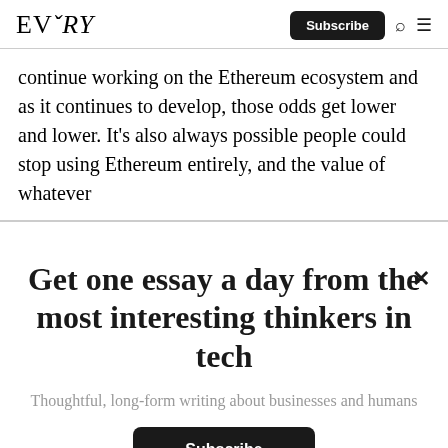EVERY | Subscribe
continue working on the Ethereum ecosystem and as it continues to develop, those odds get lower and lower. It’s also always possible people could stop using Ethereum entirely, and the value of whatever
Get one essay a day from the most interesting thinkers in tech
Thoughtful, long-form writing about businesses and humans
Subscribe